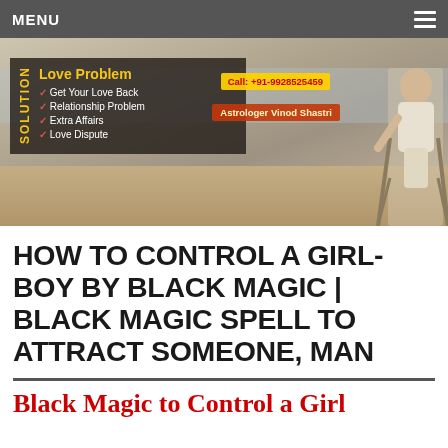MENU
[Figure (photo): Banner with beach background showing two people sitting on chairs. Overlay box with text: Solution, Love Problem, Get Your Love Back, Relationship Problem, Extra Affairs, Love Dispute. Call: +91-9928525459. Astrologer Vinod Shastri.]
HOW TO CONTROL A GIRL-BOY BY BLACK MAGIC | BLACK MAGIC SPELL TO ATTRACT SOMEONE, MAN
Black Magic to Control a Girl